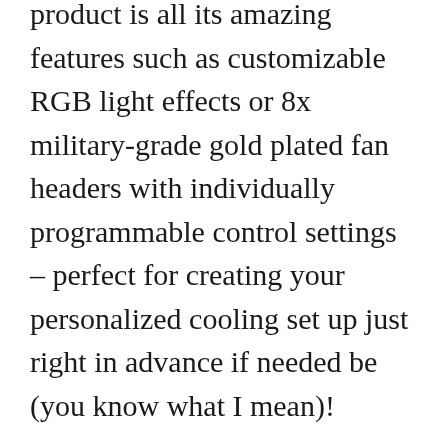product is all its amazing features such as customizable RGB light effects or 8x military-grade gold plated fan headers with individually programmable control settings – perfect for creating your personalized cooling set up just right in advance if needed be (you know what I mean)!
There were some minor gripes though; namely more fan header options would've been better since they can get crowded pretty quickly when using 4+ Fans simultaneously.